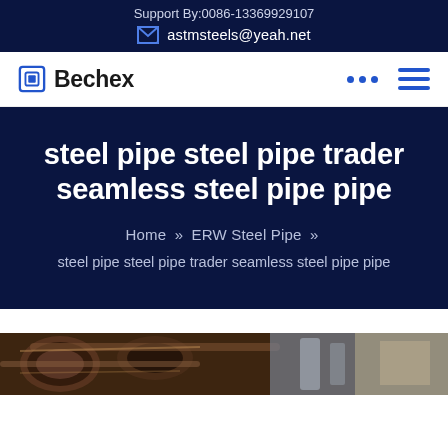Support By:0086-13369929107
astmsteels@yeah.net
Bechex
steel pipe steel pipe trader seamless steel pipe pipe
Home » ERW Steel Pipe » steel pipe steel pipe trader seamless steel pipe pipe
[Figure (photo): Industrial steel pipes in a manufacturing or warehouse setting, showing multiple large diameter steel pipes arranged together with industrial equipment visible in the background.]